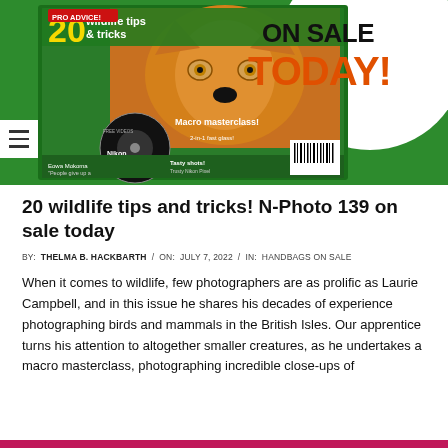[Figure (photo): Magazine cover for N-Photo 139 showing a fox on green background with text 'ON SALE TODAY!' in orange/black. Magazine shows '20 wildlife tips & tricks', Nikon Skills DVD, and other features.]
20 wildlife tips and tricks! N-Photo 139 on sale today
BY: THELMA B. HACKBARTH / ON: JULY 7, 2022 / IN: HANDBAGS ON SALE
When it comes to wildlife, few photographers are as prolific as Laurie Campbell, and in this issue he shares his decades of experience photographing birds and mammals in the British Isles. Our apprentice turns his attention to altogether smaller creatures, as he undertakes a macro masterclass, photographing incredible close-ups of